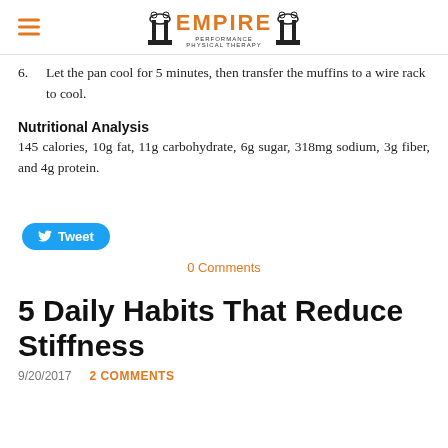Empire Performance Physical Therapy
6. Let the pan cool for 5 minutes, then transfer the muffins to a wire rack to cool.
Nutritional Analysis
145 calories, 10g fat, 11g carbohydrate, 6g sugar, 318mg sodium, 3g fiber, and 4g protein.
Tweet
0 Comments
5 Daily Habits That Reduce Stiffness
9/20/2017   2 COMMENTS